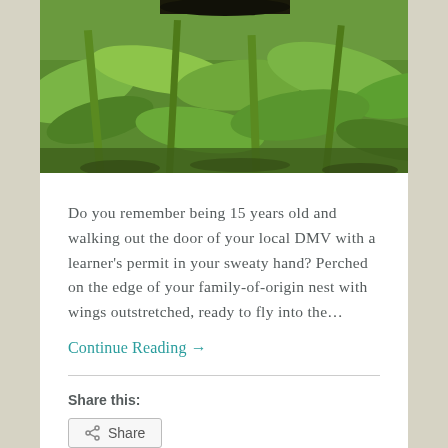[Figure (photo): Close-up photo of green leafy plants/corn stalks from a low angle, background is blurred]
Do you remember being 15 years old and walking out the door of your local DMV with a learner's permit in your sweaty hand? Perched on the edge of your family-of-origin nest with wings outstretched, ready to fly into the…
Continue Reading →
Share this:
Share
Like
2 bloggers like this.